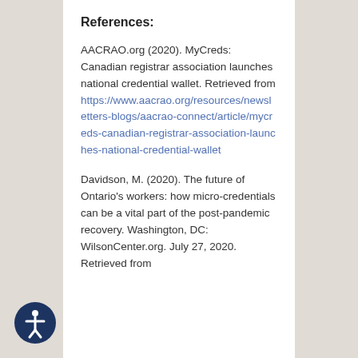References:
AACRAO.org (2020). MyCreds: Canadian registrar association launches national credential wallet. Retrieved from https://www.aacrao.org/resources/newsletters-blogs/aacrao-connect/article/mycreds-canadian-registrar-association-launches-national-credential-wallet
Davidson, M. (2020). The future of Ontario's workers: how micro-credentials can be a vital part of the post-pandemic recovery. Washington, DC: WilsonCenter.org. July 27, 2020. Retrieved from